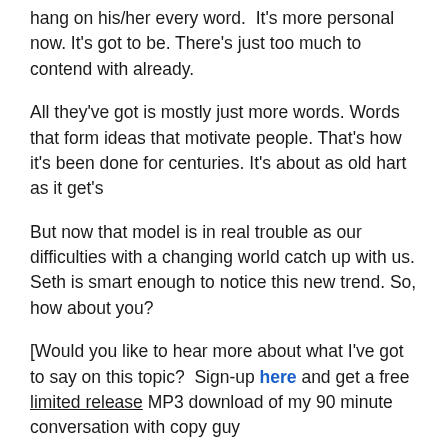hang on his/her every word.  It's more personal now. It's got to be. There's just too much to contend with already.
All they've got is mostly just more words. Words that form ideas that motivate people. That's how it's been done for centuries. It's about as old hart as it get's
But now that model is in real trouble as our difficulties with a changing world catch up with us. Seth is smart enough to notice this new trend. So, how about you?
[Would you like to hear more about what I've got to say on this topic?  Sign-up here and get a free limited release MP3 download of my 90 minute conversation with copy guy